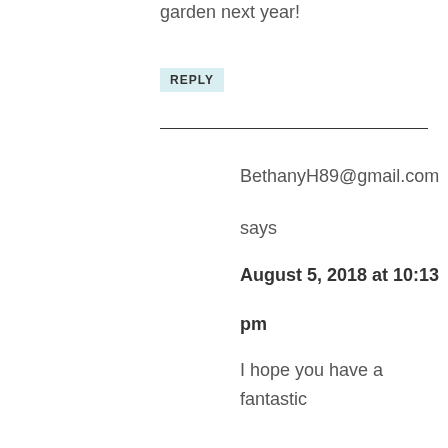garden next year!
REPLY
BethanyH89@gmail.com
says
August 5, 2018 at 10:13 pm
I hope you have a fantastic harvest next year! I have a friend that loves her Back